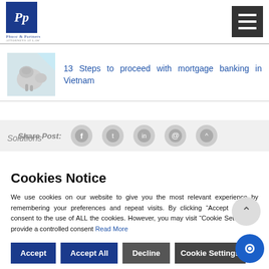Phuoc & Partners - Attorneys at Law
13 Steps to proceed with mortgage banking in Vietnam
Share Post:
Cookies Notice
We use cookies on our website to give you the most relevant experience by remembering your preferences and repeat visits. By clicking "Accept All", you consent to the use of ALL the cookies. However, you may visit "Cookie Settings" to provide a controlled consent Read More
Accept | Accept All | Decline | Cookie Settings